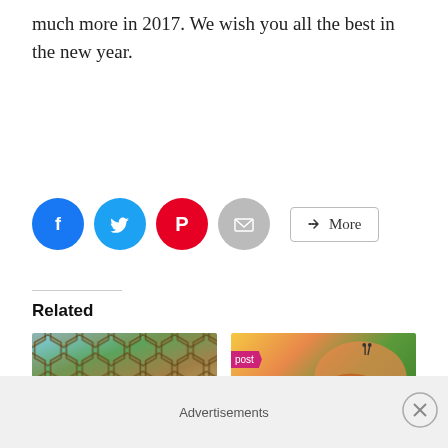much more in 2017. We wish you all the best in the new year.
[Figure (infographic): Social sharing buttons: Facebook (blue circle), Twitter (blue circle), Pinterest (red circle), Email (grey circle), and a More button with share icon]
Related
[Figure (photo): Honeycomb wooden insect hotel structure outdoors with trees and blue sky in background]
[Figure (photo): Monarch butterfly on green foliage with pink ribbon banner overlay showing text 'post' and 'rch']
Advertisements